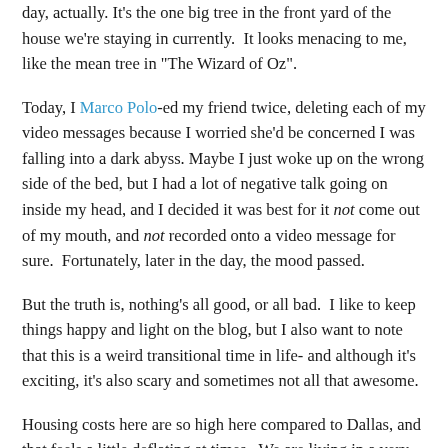day, actually. It's the one big tree in the front yard of the house we're staying in currently. It looks menacing to me, like the mean tree in "The Wizard of Oz".
Today, I Marco Polo-ed my friend twice, deleting each of my video messages because I worried she'd be concerned I was falling into a dark abyss. Maybe I just woke up on the wrong side of the bed, but I had a lot of negative talk going on inside my head, and I decided it was best for it not come out of my mouth, and not recorded onto a video message for sure. Fortunately, later in the day, the mood passed.
But the truth is, nothing's all good, or all bad. I like to keep things happy and light on the blog, but I also want to note that this is a weird transitional time in life- and although it's exciting, it's also scary and sometimes not all that awesome.
Housing costs here are so high here compared to Dallas, and that feels a little deflating at times. We are living in a very temporary living situation, and although I know it will change again soon and hopefully feel better, I also know we've got a long way to go before we find a real home. And